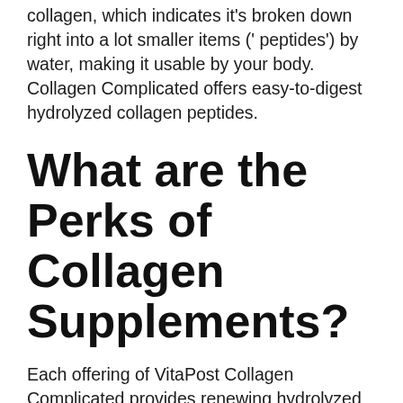collagen, which indicates it's broken down right into a lot smaller items (' peptides') by water, making it usable by your body. Collagen Complicated offers easy-to-digest hydrolyzed collagen peptides.
What are the Perks of Collagen Supplements?
Each offering of VitaPost Collagen Complicated provides renewing hydrolyzed collagen. Collagen supplements are not only good for your skin yet additionally for your hair, nails, as well as joints. It can help with joint discomfort and also arthritis as well as